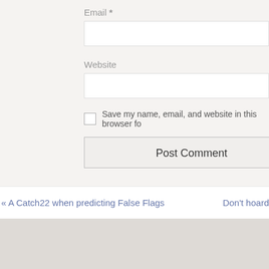Email *
Website
Save my name, email, and website in this browser fo
Post Comment
« A Catch22 when predicting False Flags
Don't hoard